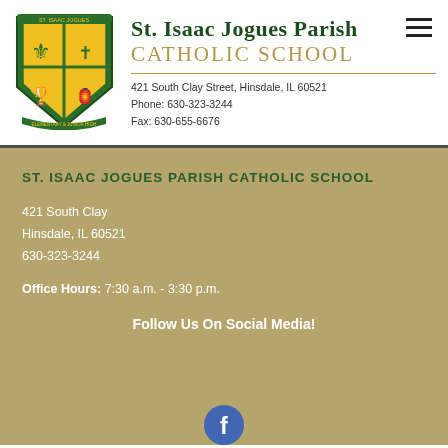[Figure (logo): St. Isaac Jogues Parish Catholic School shield crest with green and yellow quarters featuring fleur-de-lis, cross, chalice, and lantern]
St. Isaac Jogues Parish
CATHOLIC SCHOOL
421 South Clay Street, Hinsdale, IL 60521
Phone: 630-323-3244
Fax: 630-655-6676
ST. ISAAC JOGUES PARISH CATHOLIC SCHOOL
421 South Clay
Hinsdale, IL 60521
630-323-3244
Office Hours: 7:30 a.m. - 3:30 p.m.
Follow Us On Social Media!
[Figure (logo): Facebook social media icon circle, blue with white 'f' letter, partially visible at bottom of page]